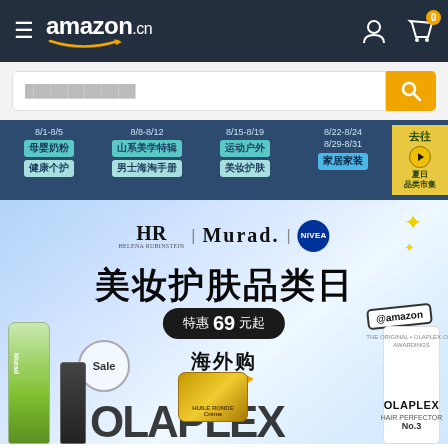amazon.cn
Search bar
8/1-8/5 母婴奶粉 健康个护 | 8/8-8/12 山系美学特辑 男士海淘手册 | 8/15-8/19 运动户外 美妆护肤 | 8/22-8/24 8/29-8/31 家居家装 | 去往 夏日品类市集
[Figure (screenshot): Amazon.cn beauty category day promotional banner featuring HR, Murad, and Nivea brands. Text reads 美妆护肤品类日 (Beauty & Skincare Category Day), 特惠69元起 (Special offers from 69 yuan), 海外购 (Overseas shopping). Products shown: Murad bottle, Olaplex tube, gold jar cream, white Olaplex bottle. Sale circle badge and @amazon tag visible.]